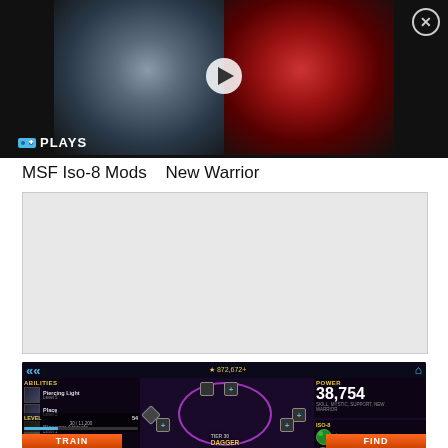[Figure (screenshot): Video thumbnail showing a split image: left side is a young man's face (Peter Parker / Tom Holland style), right side is Spider-Man in red suit. A play button is in the center. 'PLAYS' label with game controller icon at bottom left. Close button (X) top right.]
MSF Iso-8 Mods   New Warrior
[Figure (other): Advertisement placeholder block (light gray empty rectangle)]
[Figure (screenshot): Mobile game screenshot from Marvel Strike Force showing the character Dagger. Panels visible: ABILITIES (Piercing Light Level 5, Place Level 5, Blossom Attitude Level 1, LightForce Domination Level 1), LEVEL 54 (30/11,200 XP), POWER 38,754 (Skill, Mystic, Support, New Warrior), ISO-8 section with green orbs, and bottom buttons TRAIN and FIND. Character Dagger stands in center circle.]